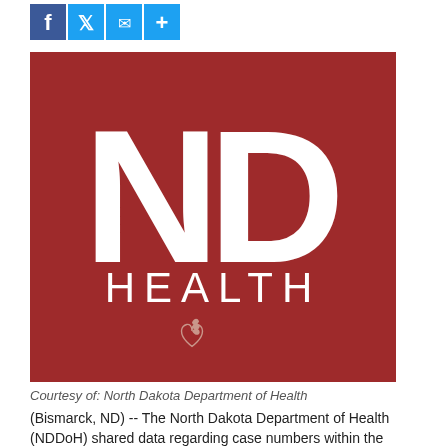[Figure (logo): North Dakota Department of Health (ND HEALTH) logo on a dark red background with white ND letters and HEALTH text, and a small heart/leaf icon below]
Courtesy of: North Dakota Department of Health
(Bismarck, ND) --  The North Dakota Department of Health (NDDoH) shared data regarding case numbers within the state, the severity of individual cases, and vaccine effectiveness.